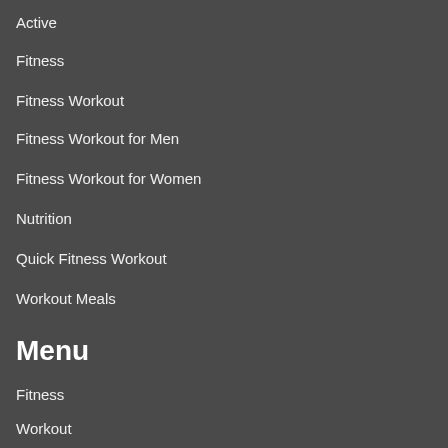Active
Fitness
Fitness Workout
Fitness Workout for Men
Fitness Workout for Women
Nutrition
Quick Fitness Workout
Workout Meals
Menu
Fitness
Workout